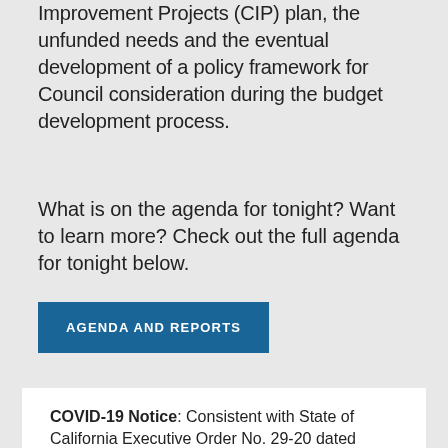Improvement Projects (CIP) plan, the unfunded needs and the eventual development of a policy framework for Council consideration during the budget development process.
What is on the agenda for tonight? Want to learn more? Check out the full agenda for tonight below.
AGENDA AND REPORTS
COVID-19 Notice: Consistent with State of California Executive Order No. 29-20 dated March 17, 2020, and Alameda County Health Officer Order No. 20-10 dated April 29, 2020, the Task Force will be participating in public meetings via phone/video conferencing